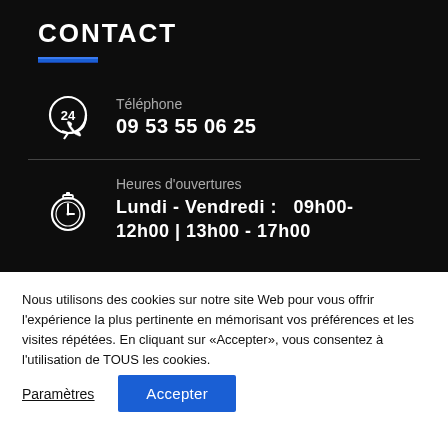CONTACT
Téléphone
09 53 55 06 25
Heures d'ouvertures
Lundi - Vendredi :   09h00-
12h00 | 13h00 - 17h00
Nous utilisons des cookies sur notre site Web pour vous offrir l'expérience la plus pertinente en mémorisant vos préférences et les visites répétées. En cliquant sur «Accepter», vous consentez à l'utilisation de TOUS les cookies.
Paramètres
Accepter